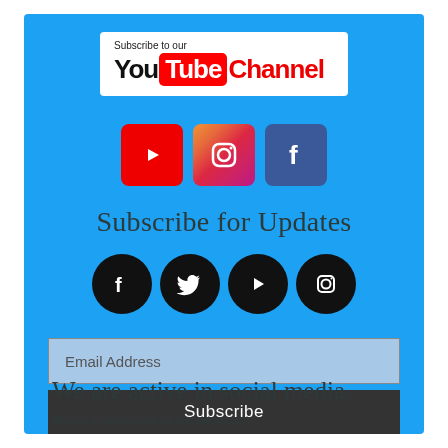[Figure (logo): YouTube Channel subscribe banner with YouTube logo]
[Figure (infographic): Three social media icons: YouTube (red), Instagram (pink gradient), Facebook (dark blue)]
Subscribe for Updates
[Figure (infographic): Four black circle social media icons: Facebook, Twitter, YouTube, Instagram]
Email Address
Subscribe
We are active in social media.
Become a member-patreon and support us!